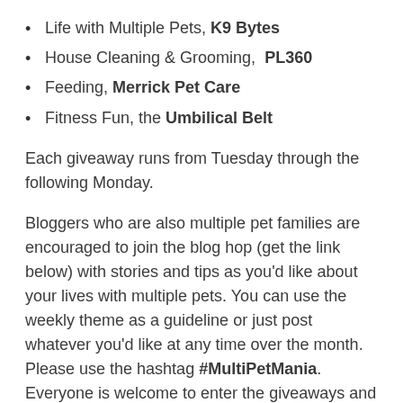Life with Multiple Pets, K9 Bytes
House Cleaning & Grooming,  PL360
Feeding, Merrick Pet Care
Fitness Fun, the Umbilical Belt
Each giveaway runs from Tuesday through the following Monday.
Bloggers who are also multiple pet families are encouraged to join the blog hop (get the link below) with stories and tips as you'd like about your lives with multiple pets. You can use the weekly theme as a guideline or just post whatever you'd like at any time over the month. Please use the hashtag #MultiPetMania. Everyone is welcome to enter the giveaways and photo contest and follow along.